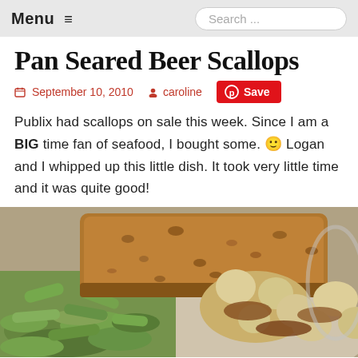Menu ≡   Search ...
Pan Seared Beer Scallops
September 10, 2010   caroline   Save
Publix had scallops on sale this week. Since I am a BIG time fan of seafood, I bought some. 🙂 Logan and I whipped up this little dish. It took very little time and it was quite good!
[Figure (photo): Plate of pan seared scallops with green beans and a piece of cornbread on a white plate]